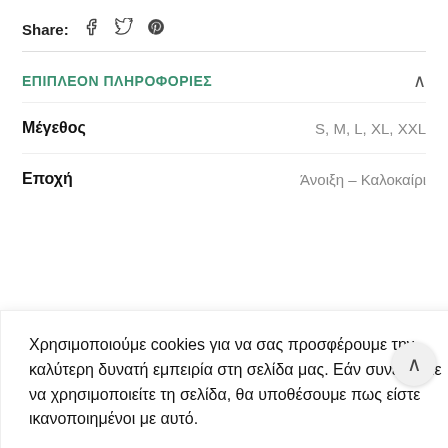Share:  f  𝕥  𝕡
ΕΠΙΠΛΕΟΝ ΠΛΗΡΟΦΟΡΙΕΣ
| Μέγεθος | S, M, L, XL, XXL |
| Εποχή | Άνοιξη – Καλοκαίρι |
Χρησιμοποιούμε cookies για να σας προσφέρουμε την καλύτερη δυνατή εμπειρία στη σελίδα μας. Εάν συνεχίσετε να χρησιμοποιείτε τη σελίδα, θα υποθέσουμε πως είστε ικανοποιημένοι με αυτό.
Cookie settings   ACCEPT
[Figure (photo): Partial view of clothing products - yellow and red garments]